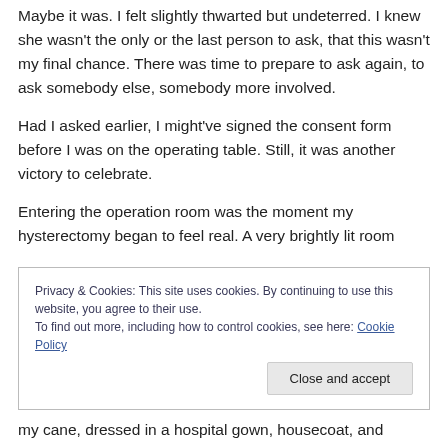Maybe it was. I felt slightly thwarted but undeterred. I knew she wasn't the only or the last person to ask, that this wasn't my final chance. There was time to prepare to ask again, to ask somebody else, somebody more involved.
Had I asked earlier, I might've signed the consent form before I was on the operating table. Still, it was another victory to celebrate.
Entering the operation room was the moment my hysterectomy began to feel real. A very brightly lit room
Privacy & Cookies: This site uses cookies. By continuing to use this website, you agree to their use.
To find out more, including how to control cookies, see here: Cookie Policy
Close and accept
my cane, dressed in a hospital gown, housecoat, and